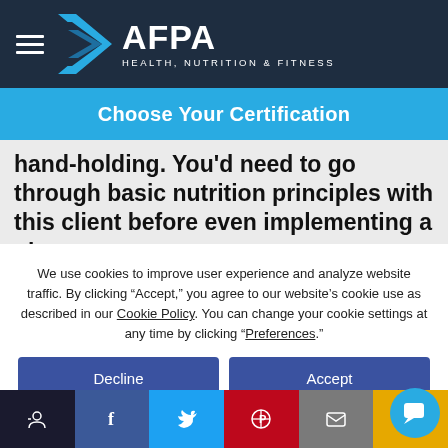[Figure (logo): AFPA Health, Nutrition & Fitness logo with chevron symbol on dark navy background, with hamburger menu icon]
Choose Your Certification
hand-holding. You'd need to go through basic nutrition principles with this client before even implementing a plan.
We use cookies to improve user experience and analyze website traffic. By clicking "Accept," you agree to our website's cookie use as described in our Cookie Policy. You can change your cookie settings at any time by clicking "Preferences."
Decline
Accept
Preferences
[Figure (infographic): Social share bar with accessibility, Facebook, Twitter, Pinterest, email, and SMS icons, plus a chat bubble widget]